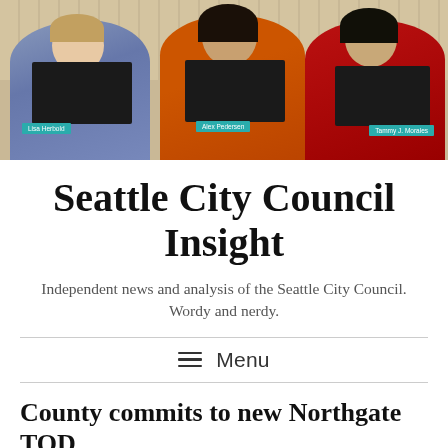[Figure (photo): Three Seattle City Council members seated at a council dais, looking down at laptops. Name placards visible in teal: Lisa Herbold, Alex Pedersen, Tammy J. Morales. Background is a tan perforated wall panel.]
Seattle City Council Insight
Independent news and analysis of the Seattle City Council. Wordy and nerdy.
Menu
County commits to new Northgate TOD